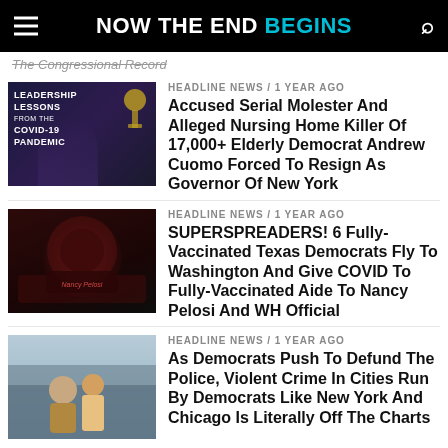NOW THE END BEGINS
The Congressional Record
HEADLINE NEWS / 1 year ago
Accused Serial Molester And Alleged Nursing Home Killer Of 17,000+ Elderly Democrat Andrew Cuomo Forced To Resign As Governor Of New York
HEADLINE NEWS / 1 year ago
SUPERSPREADERS! 6 Fully-Vaccinated Texas Democrats Fly To Washington And Give COVID To Fully-Vaccinated Aide To Nancy Pelosi And WH Official
HEADLINE NEWS / 1 year ago
As Democrats Push To Defund The Police, Violent Crime In Cities Run By Democrats Like New York And Chicago Is Literally Off The Charts